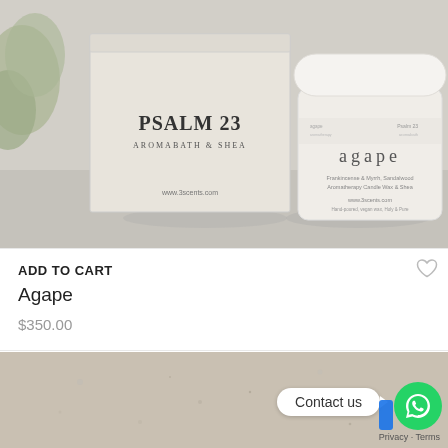[Figure (photo): Product photo showing a Psalm 23 Aromabath & Shea white box packaging next to a white cylindrical candle jar labeled 'agape', set against a light grey background with some foliage visible on the left.]
ADD TO CART
Agape
$350.00
[Figure (photo): Partial product lifestyle photo showing a textured stone/concrete surface, with a WhatsApp 'Contact us' chat bubble and icon overlay in the bottom right, plus a reCAPTCHA badge and Privacy · Terms text.]